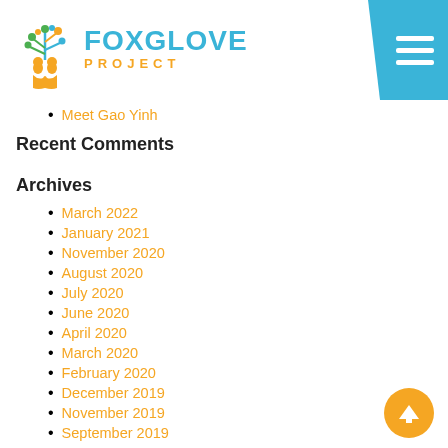[Figure (logo): Foxglove Project logo with tree/people icon and blue/orange text]
Meet Gao Yinh
Recent Comments
Archives
March 2022
January 2021
November 2020
August 2020
July 2020
June 2020
April 2020
March 2020
February 2020
December 2019
November 2019
September 2019
August 2019
June 2019
May 2019
April 2019
March 2019